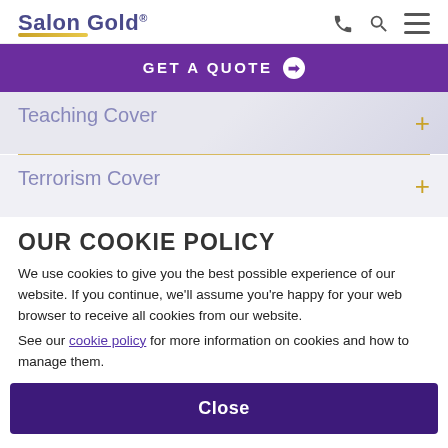Salon Gold®
GET A QUOTE ❯
Teaching Cover
Terrorism Cover
OUR COOKIE POLICY
We use cookies to give you the best possible experience of our website. If you continue, we'll assume you're happy for your web browser to receive all cookies from our website.
See our cookie policy for more information on cookies and how to manage them.
Close